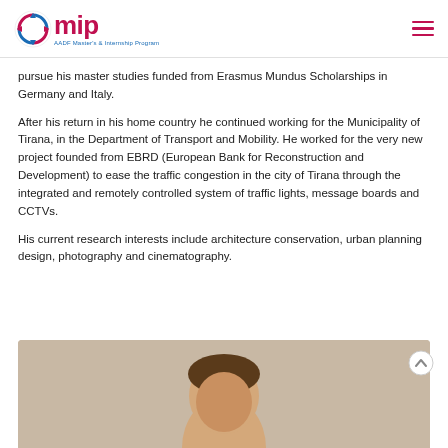AADF Master's & Internship Program
pursue his master studies funded from Erasmus Mundus Scholarships in Germany and Italy.
After his return in his home country he continued working for the Municipality of Tirana, in the Department of Transport and Mobility. He worked for the very new project founded from EBRD (European Bank for Reconstruction and Development) to ease the traffic congestion in the city of Tirana through the integrated and remotely controlled system of traffic lights, message boards and CCTVs.
His current research interests include architecture conservation, urban planning design, photography and cinematography.
[Figure (photo): Portrait photo of a person, partially visible, showing head and upper shoulders against a light beige/tan background.]